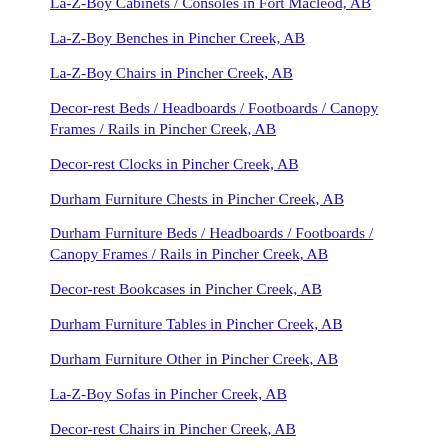La-Z-Boy Cabinets / Consoles in Fort Macleod, AB
La-Z-Boy Benches in Pincher Creek, AB
La-Z-Boy Chairs in Pincher Creek, AB
Decor-rest Beds / Headboards / Footboards / Canopy Frames / Rails in Pincher Creek, AB
Decor-rest Clocks in Pincher Creek, AB
Durham Furniture Chests in Pincher Creek, AB
Durham Furniture Beds / Headboards / Footboards / Canopy Frames / Rails in Pincher Creek, AB
Decor-rest Bookcases in Pincher Creek, AB
Durham Furniture Tables in Pincher Creek, AB
Durham Furniture Other in Pincher Creek, AB
La-Z-Boy Sofas in Pincher Creek, AB
Decor-rest Chairs in Pincher Creek, AB
Durham Furniture All Media Consoles and Wall Units